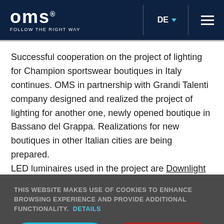OMS FOLLOW THE RIGHT WAY — DE — Menu
Successful cooperation on the project of lighting for Champion sportswear boutiques in Italy continues. OMS in partnership with Grandi Talenti company designed and realized the project of lighting for another one, newly opened boutique in Bassano del Grappa. Realizations for new boutiques in other Italian cities are being prepared. LED luminaires used in the project are Downlight Caim, Downlight Prepus and Modul Avior Motion, which has been
THIS WEBSITE MAKES USE OF COOKIES TO ENHANCE BROWSING EXPERIENCE AND PROVIDE ADDITIONAL FUNCTIONALITY. DETAILS
ALLOW COOKIES | DISALLOW COOKIES